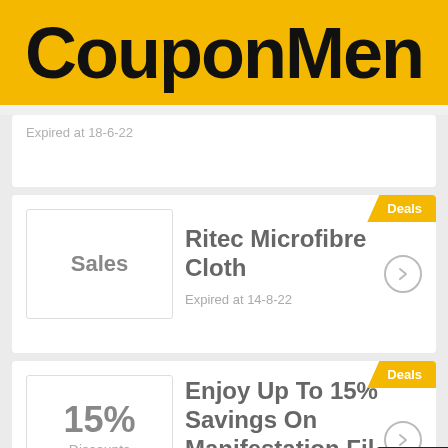CouponMen
Expired at 18-6-22
Deals
Ritec Microfibre Cloth
Expired at 14-8-22
Deals
15% Discounts
Enjoy Up To 15% Savings On Manifestation Fil...
Expired at 23-6-22